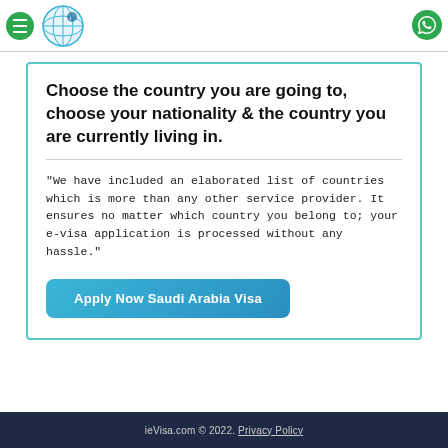ieVisa.com header with menu icon, logo, and WhatsApp icon
Choose the country you are going to, choose your nationality & the country you are currently living in.
"We have included an elaborated list of countries which is more than any other service provider. It ensures no matter which country you belong to; your e-visa application is processed without any hassle."
Apply Now Saudi Arabia Visa
ieVisa.com © 2022. Privacy Policy